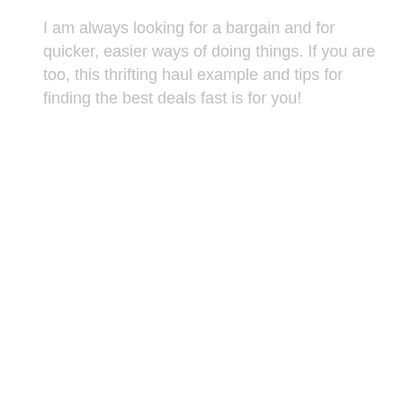I am always looking for a bargain and for quicker, easier ways of doing things. If you are too, this thrifting haul example and tips for finding the best deals fast is for you!